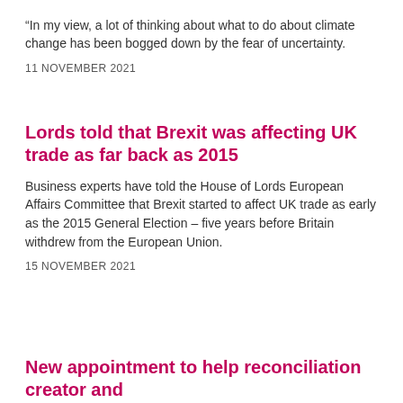"In my view, a lot of thinking about what to do about climate change has been bogged down by the fear of uncertainty.
11 NOVEMBER 2021
Lords told that Brexit was affecting UK trade as far back as 2015
Business experts have told the House of Lords European Affairs Committee that Brexit started to affect UK trade as early as the 2015 General Election – five years before Britain withdrew from the European Union.
15 NOVEMBER 2021
New appointment to help reconciliation creator and